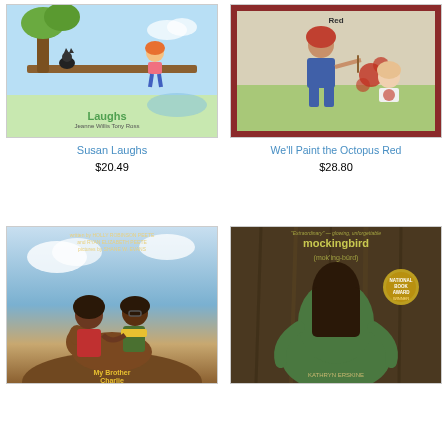[Figure (illustration): Book cover for 'Susan Laughs' by Jeanne Willis and Tony Ross, showing a girl with red hair on a seesaw with a cat, blue sky background]
[Figure (illustration): Book cover for 'We'll Paint the Octopus Red', showing a child in overalls painting a baby red]
Susan Laughs
We'll Paint the Octopus Red
$20.49
$28.80
[Figure (illustration): Book cover for 'My Brother Charlie' written by Holly Robinson Peete and Ryan Elizabeth Peete, illustrated by Shane W. Evans, showing two children hugging with a dog]
[Figure (illustration): Book cover for 'mockingbird (mok'ing-burd)' by Kathryn Erskine, National Book Award Winner, showing a girl with long dark hair hugging a tree]